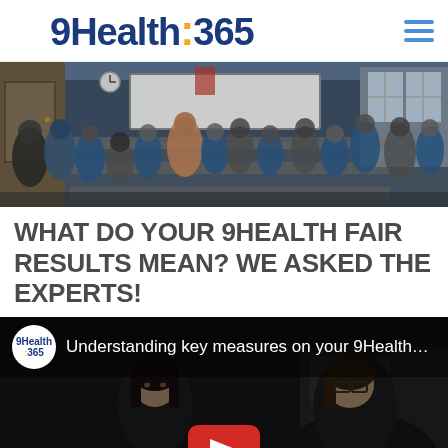9Health:365
[Figure (photo): Large room with many people seated at tables, some in blue medical scrubs, appearing to be a health fair event with a whiteboard at the front]
WHAT DO YOUR 9HEALTH FAIR RESULTS MEAN? WE ASKED THE EXPERTS!
[Figure (screenshot): Video thumbnail showing two women, with 9Health:365 logo and text 'Understanding key measures on your 9Health...' and a YouTube play button at the bottom center]